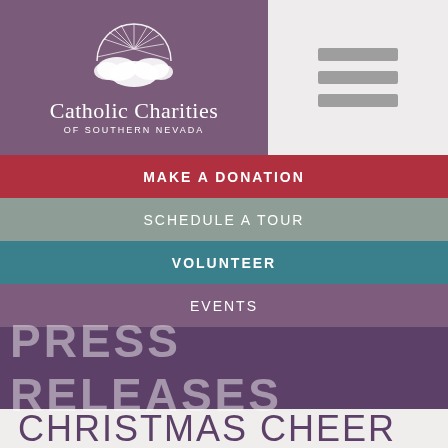[Figure (logo): Catholic Charities of Southern Nevada logo with sun/clouds illustration and text]
MAKE A DONATION
SCHEDULE A TOUR
VOLUNTEER
EVENTS
PRESS RELEASES
CHRISTMAS CHEER AT